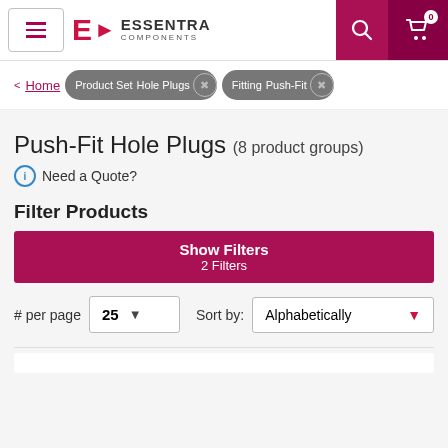Essentra Components — Push-Fit Hole Plugs
< Home | Product Set: Hole Plugs (×) | Fitting: Push-Fit (×)
Push-Fit Hole Plugs (8 product groups)
ⓘ Need a Quote?
Filter Products
Show Filters
2 Filters
# per page  25 ▼   Sort by:  Alphabetically ▼